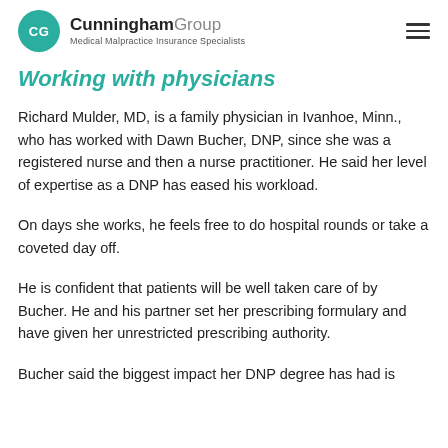CG Cunningham Group — Medical Malpractice Insurance Specialists
Working with physicians
Richard Mulder, MD, is a family physician in Ivanhoe, Minn., who has worked with Dawn Bucher, DNP, since she was a registered nurse and then a nurse practitioner. He said her level of expertise as a DNP has eased his workload.
On days she works, he feels free to do hospital rounds or take a coveted day off.
He is confident that patients will be well taken care of by Bucher. He and his partner set her prescribing formulary and have given her unrestricted prescribing authority.
Bucher said the biggest impact her DNP degree has had is